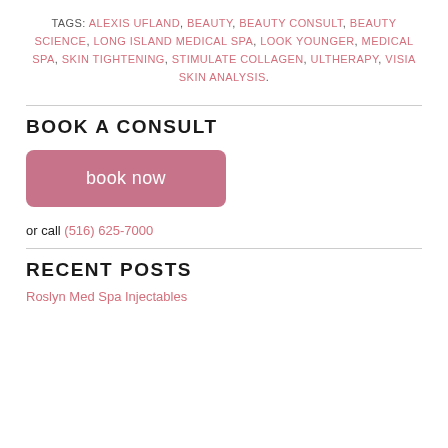TAGS: ALEXIS UFLAND, BEAUTY, BEAUTY CONSULT, BEAUTY SCIENCE, LONG ISLAND MEDICAL SPA, LOOK YOUNGER, MEDICAL SPA, SKIN TIGHTENING, STIMULATE COLLAGEN, ULTHERAPY, VISIA SKIN ANALYSIS.
BOOK A CONSULT
book now
or call (516) 625-7000
RECENT POSTS
Roslyn Med Spa Injectables